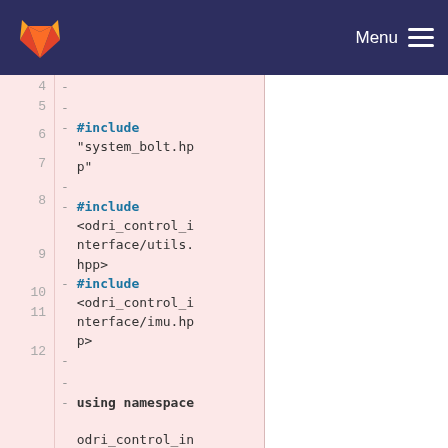GitLab navigation bar with Menu
[Figure (screenshot): GitLab logo (fox/tanuki) in orange and red on dark navy navbar]
4  -
5  -
6  - #include "system_bolt.hpp"
7  -
8  - #include <odri_control_interface/utils.hpp>
9  - #include <odri_control_interface/imu.hpp>
10 -
11 -
12 - using namespace odri_control_interface;